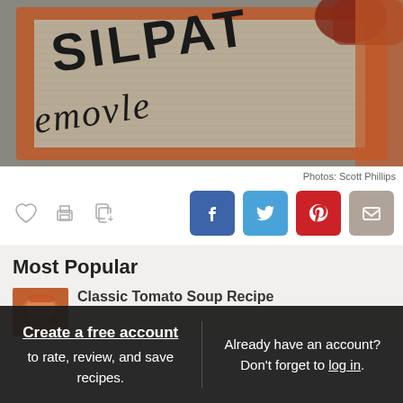[Figure (photo): Close-up photo of a Silpat silicone baking mat on a granite surface, showing the brand name SILPAT and 'emovle' text in dark lettering on an orange-bordered beige mesh mat]
Photos: Scott Phillips
[Figure (infographic): Action buttons row: heart/save icon, print icon, copy icon, followed by Facebook, Twitter, Pinterest, and email share buttons]
Most Popular
[Figure (photo): Thumbnail image of Classic Tomato Soup Recipe]
Classic Tomato Soup Recipe
Create a free account to rate, review, and save recipes. Already have an account? Don't forget to log in.